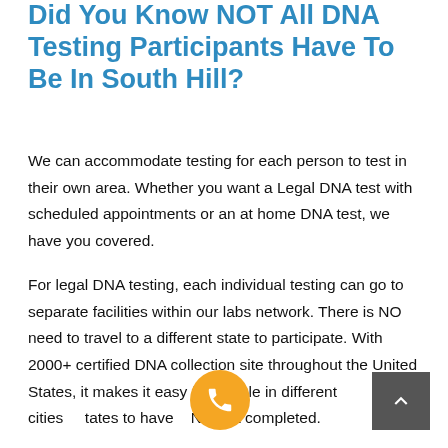Did You Know NOT All DNA Testing Participants Have To Be In South Hill?
We can accommodate testing for each person to test in their own area. Whether you want a Legal DNA test with scheduled appointments or an at home DNA test, we have you covered.
For legal DNA testing, each individual testing can go to separate facilities within our labs network. There is NO need to travel to a different state to participate. With 2000+ certified DNA collection site throughout the United States, it makes it easy for people in different cities states to have DNA test completed.